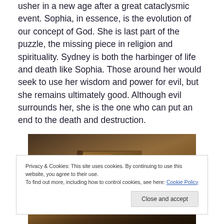usher in a new age after a great cataclysmic event. Sophia, in essence, is the evolution of our concept of God. She is last part of the puzzle, the missing piece in religion and spirituality. Sydney is both the harbinger of life and death like Sophia. Those around her would seek to use her wisdom and power for evil, but she remains ultimately good. Although evil surrounds her, she is the one who can put an end to the death and destruction.
[Figure (photo): An old weathered book (possibly a Bible or ancient tome) on a dark background with smoky atmospheric lighting]
Privacy & Cookies: This site uses cookies. By continuing to use this website, you agree to their use.
To find out more, including how to control cookies, see here: Cookie Policy